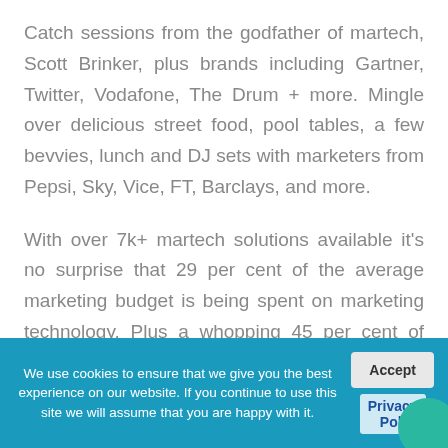Catch sessions from the godfather of martech, Scott Brinker, plus brands including Gartner, Twitter, Vodafone, The Drum + more. Mingle over delicious street food, pool tables, a few bevvies, lunch and DJ sets with marketers from Pepsi, Sky, Vice, FT, Barclays, and more.
With over 7k+ martech solutions available it's no surprise that 29 per cent of the average marketing budget is being spent on marketing technology. Plus a whopping 45 per cent of companies lack the skills or the staff to capitalise on their tech. This
We use cookies to ensure that we give you the best experience on our website. If you continue to use this site we will assume that you are happy with it. Accept Privacy Poli